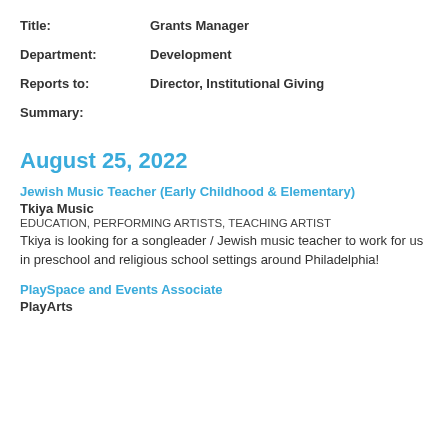Title: Grants Manager
Department: Development
Reports to: Director, Institutional Giving
Summary:
August 25, 2022
Jewish Music Teacher (Early Childhood & Elementary)
Tkiya Music
EDUCATION, PERFORMING ARTISTS, TEACHING ARTIST
Tkiya is looking for a songleader / Jewish music teacher to work for us in preschool and religious school settings around Philadelphia!
PlaySpace and Events Associate
PlayArts